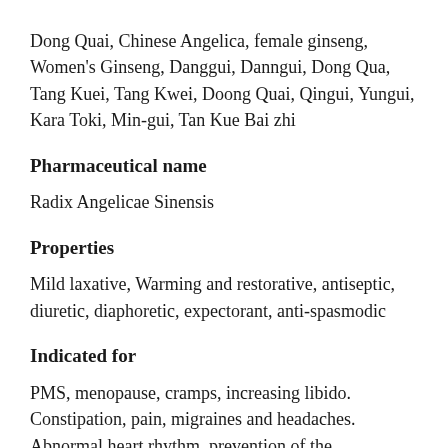Dong Quai, Chinese Angelica, female ginseng, Women's Ginseng, Danggui, Danngui, Dong Qua, Tang Kuei, Tang Kwei, Doong Quai, Qingui, Yungui, Kara Toki, Min-gui, Tan Kue Bai zhi
Pharmaceutical name
Radix Angelicae Sinensis
Properties
Mild laxative, Warming and restorative, antiseptic, diuretic, diaphoretic, expectorant, anti-spasmodic
Indicated for
PMS, menopause, cramps, increasing libido. Constipation, pain, migraines and headaches. Abnormal heart rhythm, prevention of the accumulation of platelets in blood vessels (contributing to plaque formation or atherosclerosis), protecting the liver, promoting